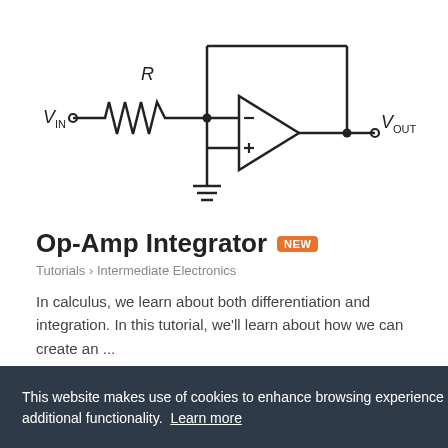[Figure (schematic): Op-Amp Integrator circuit schematic showing V_IN connected through resistor R to the inverting (-) input of an op-amp, with V_OUT at the output. The non-inverting (+) input is connected to ground.]
Op-Amp Integrator NEW
Tutorials › Intermediate Electronics
In calculus, we learn about both differentiation and integration. In this tutorial, we'll learn about how we can create an ...
Related EE FAQ
This website makes use of cookies to enhance browsing experience and provide additional functionality. Learn more